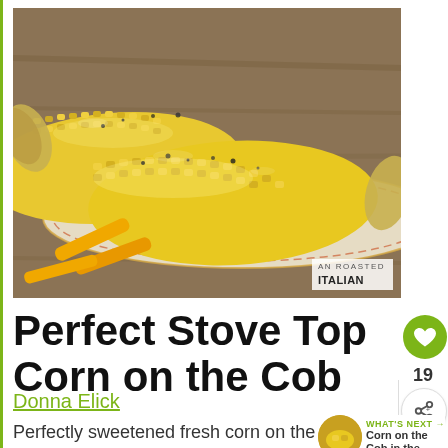[Figure (photo): Close-up photo of ears of corn on the cob with butter and pepper on a decorative plate, with yellow corn holders in the foreground. Watermark reads 'AN ITALIAN' in the bottom right corner.]
Perfect Stove Top Corn on the Cob
Donna Elick
Perfectly sweetened fresh corn on the cob cooked on the stove top creates the